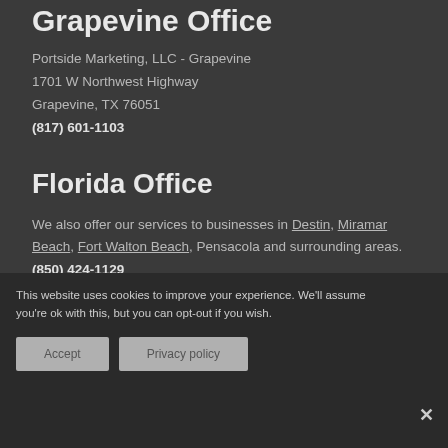Grapevine Office
Portside Marketing, LLC - Grapevine
1701 W Northwest Highway
Grapevine, TX 76051
(817) 601-1103
Florida Office
We also offer our services to businesses in Destin, Miramar Beach, Fort Walton Beach, Pensacola and surrounding areas.
(850) 424-1129
Hours & Holidays
Monday – Friday
9:00 AM – 5:30 PM CST
This website uses cookies to improve your experience. We'll assume you're ok with this, but you can opt-out if you wish.